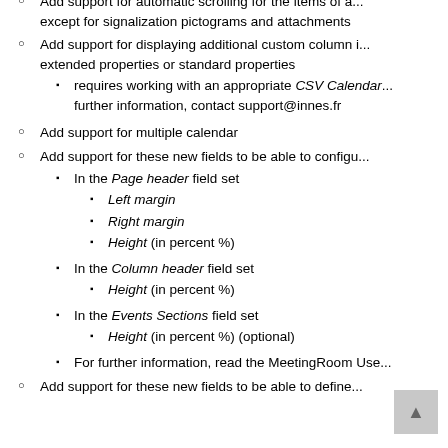Add support for automatic scrolling for the items of a... except for signalization pictograms and attachments
Add support for displaying additional custom column i... extended properties or standard properties
requires working with an appropriate CSV Calendar... further information, contact support@innes.fr
Add support for multiple calendar
Add support for these new fields to be able to configu...
In the Page header field set
Left margin
Right margin
Height (in percent %)
In the Column header field set
Height (in percent %)
In the Events Sections field set
Height (in percent %) (optional)
For further information, read the MeetingRoom Use...
Add support for these new fields to be able to define...